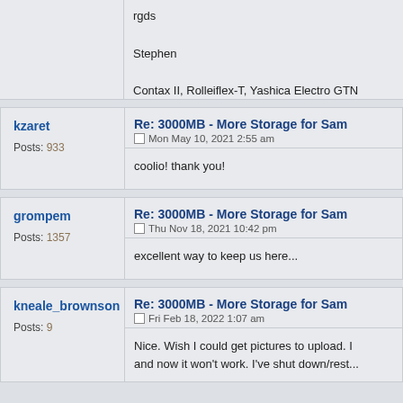rgds

Stephen

Contax II, Rolleiflex-T, Yashica Electro GTN Panasonic LX10 and FZ1000m2,
My Gallery: http://www.pbase.com/stephen_lumsd
kzaret
Posts: 933
Re: 3000MB - More Storage for Sam
Mon May 10, 2021 2:55 am
coolio! thank you!
grompem
Posts: 1357
Re: 3000MB - More Storage for Sam
Thu Nov 18, 2021 10:42 pm
excellent way to keep us here...
kneale_brownson
Posts: 9
Re: 3000MB - More Storage for Sam
Fri Feb 18, 2022 1:07 am
Nice. Wish I could get pictures to upload. I and now it won't work. I've shut down/rest...